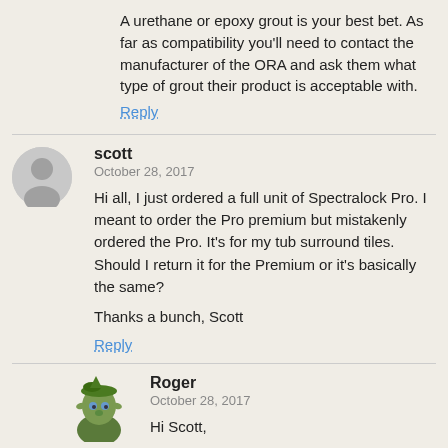A urethane or epoxy grout is your best bet. As far as compatibility you'll need to contact the manufacturer of the ORA and ask them what type of grout their product is acceptable with.
Reply
scott
October 28, 2017
Hi all, I just ordered a full unit of Spectralock Pro. I meant to order the Pro premium but mistakenly ordered the Pro. It's for my tub surround tiles. Should I return it for the Premium or it's basically the same?

Thanks a bunch, Scott
Reply
Roger
October 28, 2017
Hi Scott,

For your application it is basically the same – just use what you have. There will be absolutely no